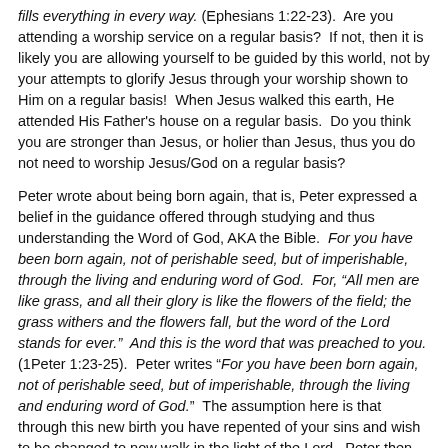fills everything in every way. (Ephesians 1:22-23).  Are you attending a worship service on a regular basis?  If not, then it is likely you are allowing yourself to be guided by this world, not by your attempts to glorify Jesus through your worship shown to Him on a regular basis!  When Jesus walked this earth, He attended His Father's house on a regular basis.  Do you think you are stronger than Jesus, or holier than Jesus, thus you do not need to worship Jesus/God on a regular basis?
Peter wrote about being born again, that is, Peter expressed a belief in the guidance offered through studying and thus understanding the Word of God, AKA the Bible.  For you have been born again, not of perishable seed, but of imperishable, through the living and enduring word of God.  For, "All men are like grass, and all their glory is like the flowers of the field; the grass withers and the flowers fall, but the word of the Lord stands for ever."  And this is the word that was preached to you. (1Peter 1:23-25).  Peter writes "For you have been born again, not of perishable seed, but of imperishable, through the living and enduring word of God."  The assumption here is that through this new birth you have repented of your sins and wish to be changed to now walk in the light of the Lord.  Peter then writes, "the word of the Lord stands for ever."  This is more than just the Bible, this refers to the guidance offered to believers by